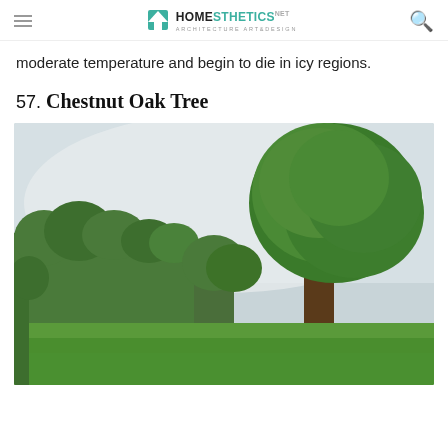Homesthetics - Architecture Art & Design
moderate temperature and begin to die in icy regions.
57. Chestnut Oak Tree
[Figure (photo): A Chestnut Oak Tree in a green parkland setting, with large leafy trees on the right and smaller trees on the left against an overcast sky, with a green grass lawn in the foreground.]